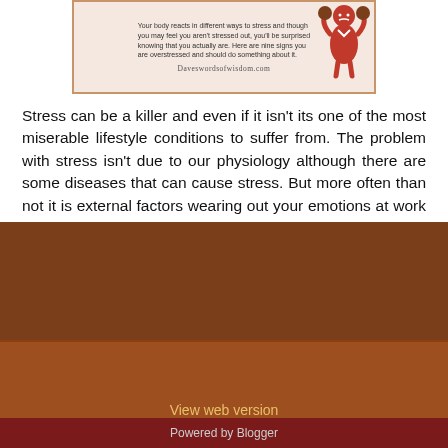[Figure (illustration): Infographic showing a stressed figure with text about body reactions to stress and the website daveswordsofwisdom.com]
Stress can be a killer and even if it isn't its one of the most miserable lifestyle conditions to suffer from. The problem with stress isn't due to our physiology although there are some diseases that can cause stress. But more often than not it is external factors wearing out your emotions at work or even at home.
25 comments:
Share
‹
Home
›
View web version
Powered by Blogger